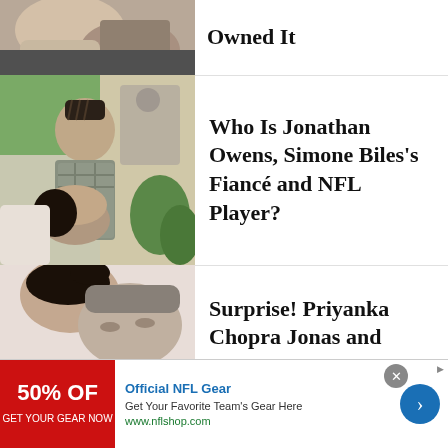[Figure (photo): Partial view of two people close together, cropped at top]
Owned It
[Figure (photo): Couple kissing outdoors, man with braided undercut hairstyle and woman leaning back]
Who Is Jonathan Owens, Simone Biles's Fiancé and NFL Player?
[Figure (photo): Close-up of couple with faces nearly touching, woman with dark hair up]
Surprise! Priyanka Chopra Jonas and
[Figure (other): Advertisement banner for Official NFL Gear showing 50% off and nflshop.com]